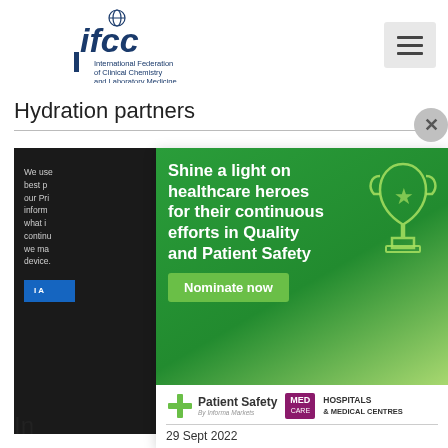[Figure (logo): IFCC logo - International Federation of Clinical Chemistry and Laboratory Medicine]
Hydration partners
We use cookies to give you the best possible experience on our Privacy Policy. For more information about what information we collect and how it continues to be used when we may place a cookie on your device.
[Figure (infographic): Advertisement overlay: 'Shine a light on healthcare heroes for their continuous efforts in Quality and Patient Safety' with Nominate now button. Patient Safety by Informa Markets and MED CARE Hospitals & Medical Centres logos. Date: 29 Sept 2022.]
In